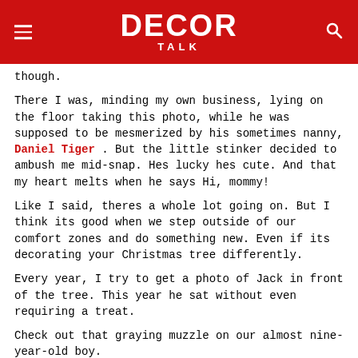DECOR TALK
though.
There I was, minding my own business, lying on the floor taking this photo, while he was supposed to be mesmerized by his sometimes nanny, Daniel Tiger . But the little stinker decided to ambush me mid-snap. Hes lucky hes cute. And that my heart melts when he says Hi, mommy!
Like I said, theres a whole lot going on. But I think its good when we step outside of our comfort zones and do something new. Even if its decorating your Christmas tree differently.
Every year, I try to get a photo of Jack in front of the tree. This year he sat without even requiring a treat.
Check out that graying muzzle on our almost nine-year-old boy.
Christmas Tree Decorating